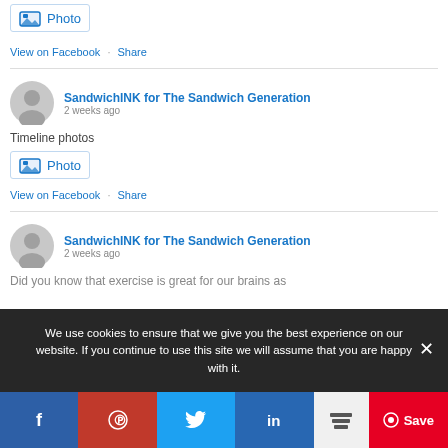[Figure (screenshot): Photo icon box with blue camera/image icon and 'Photo' label in blue]
View on Facebook · Share
SandwichINK for The Sandwich Generation
2 weeks ago
Timeline photos
[Figure (screenshot): Photo icon box with blue camera/image icon and 'Photo' label in blue]
View on Facebook · Share
SandwichINK for The Sandwich Generation
2 weeks ago
Did you know that exercise is great for our brains as
We use cookies to ensure that we give you the best experience on our website. If you continue to use this site we will assume that you are happy with it.
[Figure (screenshot): Social sharing bar with Facebook, Pinterest, Twitter, LinkedIn, Buffer, and Pinterest Save buttons]